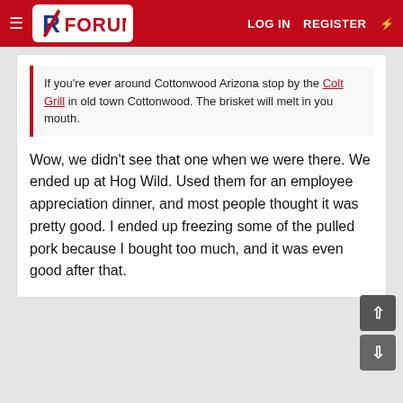FX FORUM — LOG IN  REGISTER
If you're ever around Cottonwood Arizona stop by the Colt Grill in old town Cottonwood. The brisket will melt in you mouth.
Wow, we didn't see that one when we were there. We ended up at Hog Wild. Used them for an employee appreciation dinner, and most people thought it was pretty good. I ended up freezing some of the pulled pork because I bought too much, and it was even good after that.